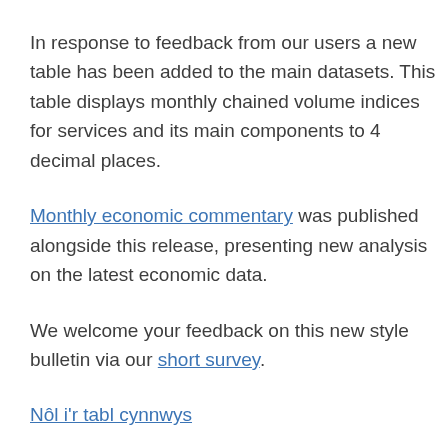In response to feedback from our users a new table has been added to the main datasets. This table displays monthly chained volume indices for services and its main components to 4 decimal places.
Monthly economic commentary was published alongside this release, presenting new analysis on the latest economic data.
We welcome your feedback on this new style bulletin via our short survey.
Nôl i'r tabl cynnwys